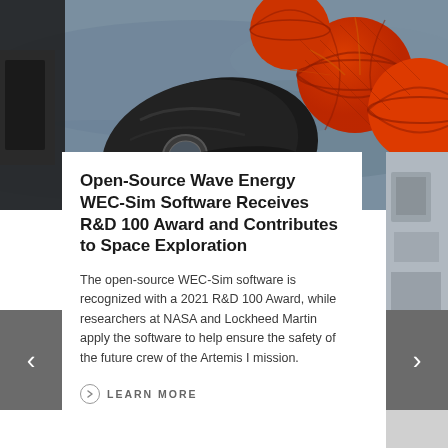[Figure (photo): A spacecraft capsule floating in water with large orange/red buoy balls attached, viewed from above on a grey ocean background.]
Open-Source Wave Energy WEC-Sim Software Receives R&D 100 Award and Contributes to Space Exploration
The open-source WEC-Sim software is recognized with a 2021 R&D 100 Award, while researchers at NASA and Lockheed Martin apply the software to help ensure the safety of the future crew of the Artemis I mission.
LEARN MORE